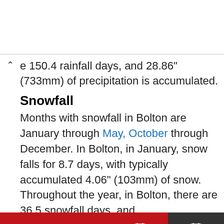e 150.4 rainfall days, and 28.86" (733mm) of precipitation is accumulated.
Snowfall
Months with snowfall in Bolton are January through May, October through December. In Bolton, in January, snow falls for 8.7 days, with typically accumulated 4.06" (103mm) of snow. Throughout the year, in Bolton, there are 36.5 snowfall days, and
January
Today  Tomorrow  10 days  Climate